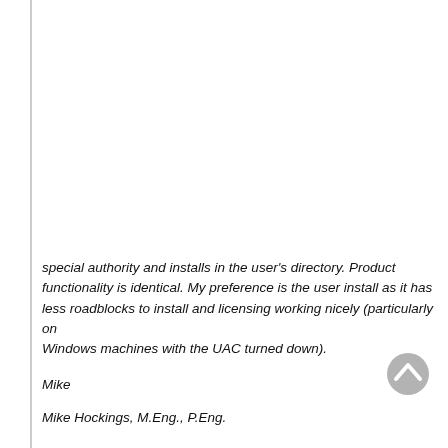special authority and installs in the user's directory. Product functionality is identical. My preference is the user install as it has less roadblocks to install and licensing working nicely (particularly on Windows machines with the UAC turned down).
Mike
Mike Hockings, M.Eng., P.Eng.